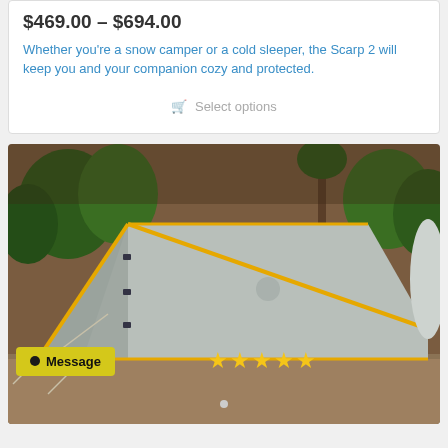$469.00 – $694.00
Whether you're a snow camper or a cold sleeper, the Scarp 2 will keep you and your companion cozy and protected.
Select options
[Figure (photo): Gray and yellow tent set up outdoors on dirt ground with trees in background. Stars rating overlay and Message button visible.]
Message